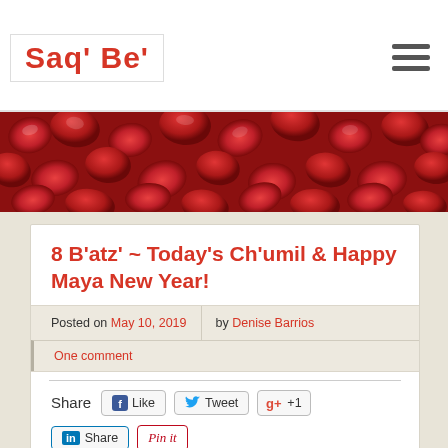Saq' Be'
[Figure (photo): Red seeds/berries close-up hero banner]
8 B'atz'  ~ Today's Ch'umil & Happy Maya New Year!
Posted on May 10, 2019 by Denise Barrios
One comment
Share  Like  Tweet  +1  Share  Pin it
[Figure (photo): Dark nighttime scene, partial bottom strip]